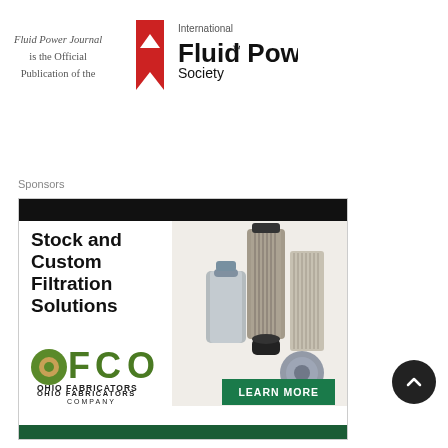[Figure (logo): Fluid Power Journal is the Official Publication of the International Fluid Power Society logo with red bookmark icon]
Sponsors
[Figure (advertisement): OFCO Ohio Fabricators Company advertisement for Stock and Custom Filtration Solutions with a Learn More button and photos of filtration products]